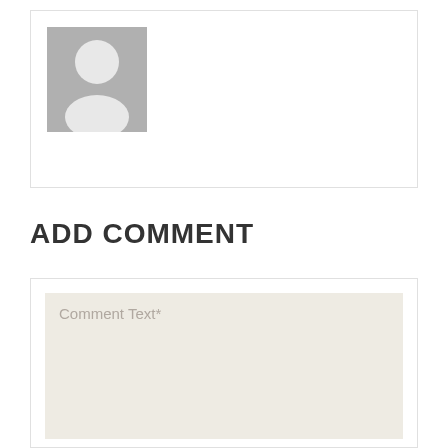[Figure (illustration): User profile card with a generic avatar silhouette icon (gray background with white person outline) in the upper left corner of a white card with light border.]
ADD COMMENT
[Figure (screenshot): Comment text input form area with a beige/off-white textarea containing placeholder text 'Comment Text*']